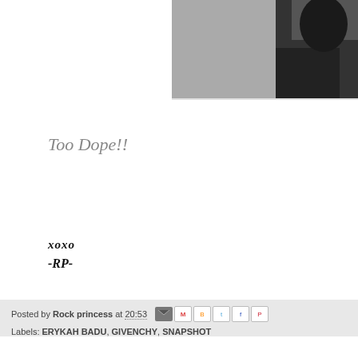[Figure (photo): Black and white photograph, partially cropped, showing a person against a grey background]
Too Dope!!
xoxo
-RP-
Posted by Rock princess at 20:53
Labels: ERYKAH BADU, GIVENCHY, SNAPSHOT